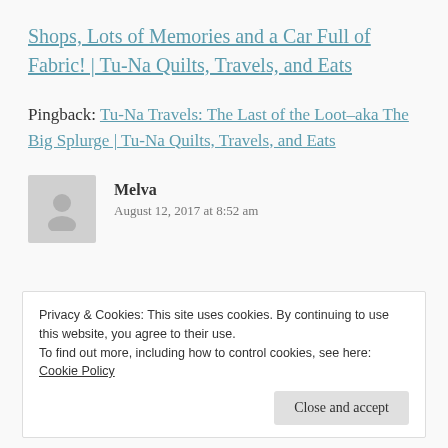Shops, Lots of Memories and a Car Full of Fabric! | Tu-Na Quilts, Travels, and Eats
Pingback: Tu-Na Travels: The Last of the Loot–aka The Big Splurge | Tu-Na Quilts, Travels, and Eats
Melva
August 12, 2017 at 8:52 am
Privacy & Cookies: This site uses cookies. By continuing to use this website, you agree to their use.
To find out more, including how to control cookies, see here: Cookie Policy
[Close and accept]